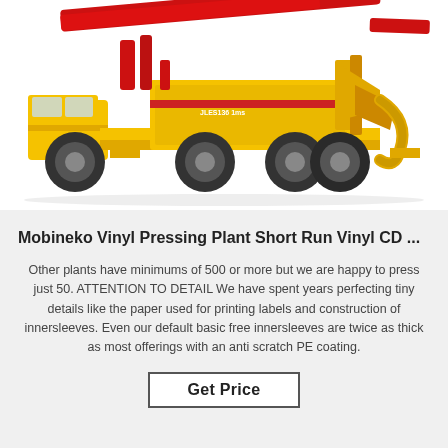[Figure (photo): A yellow and red concrete pump truck (boom pump) on a white background, facing right, with a large red boom arm folded on top.]
Mobineko Vinyl Pressing Plant Short Run Vinyl CD ...
Other plants have minimums of 500 or more but we are happy to press just 50. ATTENTION TO DETAIL We have spent years perfecting tiny details like the paper used for printing labels and construction of innersleeves. Even our default basic free innersleeves are twice as thick as most offerings with an anti scratch PE coating.
Get Price